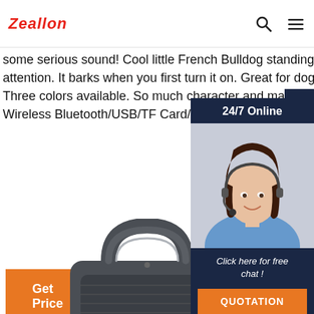Zeallon
some serious sound! Cool little French Bulldog standing at attention. It barks when you first turn it on. Great for dog lovers! Three colors available. So much character and makes a great gift! Wireless Bluetooth/USB/TF Card/Aux Playtime: 3-4
[Figure (photo): Customer service representative wearing a headset, smiling, shown in a 24/7 Online chat widget overlay with dark navy background and orange QUOTATION button]
Get Price
[Figure (photo): Top view of a dark gray portable Bluetooth speaker with a carrying handle]